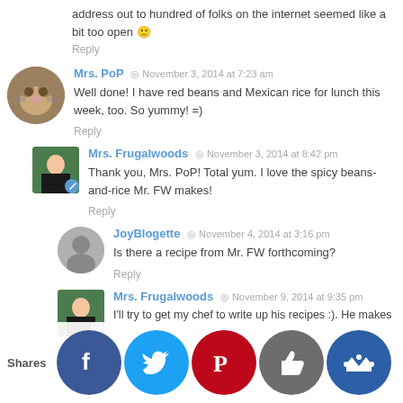address out to hundred of folks on the internet seemed like a bit too open 🙂
Reply
Mrs. PoP · November 3, 2014 at 7:23 am
Well done! I have red beans and Mexican rice for lunch this week, too. So yummy! =)
Reply
Mrs. Frugalwoods · November 3, 2014 at 8:42 pm
Thank you, Mrs. PoP! Total yum. I love the spicy beans-and-rice Mr. FW makes!
Reply
JoyBlogette · November 4, 2014 at 3:16 pm
Is there a recipe from Mr. FW forthcoming?
Reply
Mrs. Frugalwoods · November 9, 2014 at 9:35 pm
I'll try to get my chef to write up his recipes :). He makes … up a … is alon … they're … ever … me, so I'll s… I can get h… to remembe… what he do…
Shares